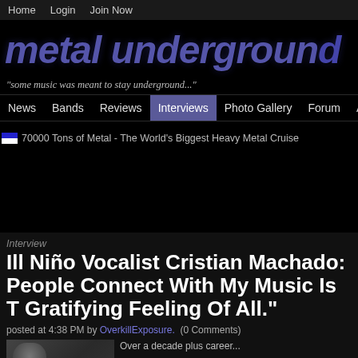Home   Login   Join Now
[Figure (logo): Metal Underground logo in distressed purple font with tagline]
"some music was meant to stay underground..."
News   Bands   Reviews   Interviews   Photo Gallery   Forum   About Us
[Figure (photo): 70000 Tons of Metal - The World's Biggest Heavy Metal Cruise banner ad]
Interview
Ill Niño Vocalist Cristian Machado: People Connect With My Music Is T Gratifying Feeling Of All."
posted at 4:38 PM by OverkillExposure.  (0 Comments)
[Figure (photo): Thumbnail photo of Cristian Machado]
Over a decade plus career...